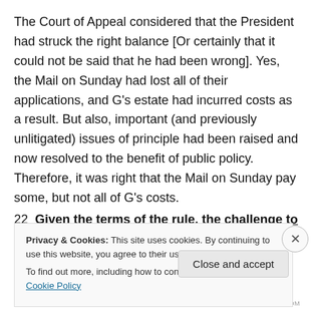The Court of Appeal considered that the President had struck the right balance [Or certainly that it could not be said that he had been wrong]. Yes, the Mail on Sunday had lost all of their applications, and G's estate had incurred costs as a result. But also, important (and previously unlitigated) issues of principle had been raised and now resolved to the benefit of public policy. Therefore, it was right that the Mail on Sunday pay some, but not all of G's costs.
22  Given the terms of the rule, the challenge to the
Privacy & Cookies: This site uses cookies. By continuing to use this website, you agree to their use.
To find out more, including how to control cookies, see here: Cookie Policy
Close and accept
WORDPRESS.COM